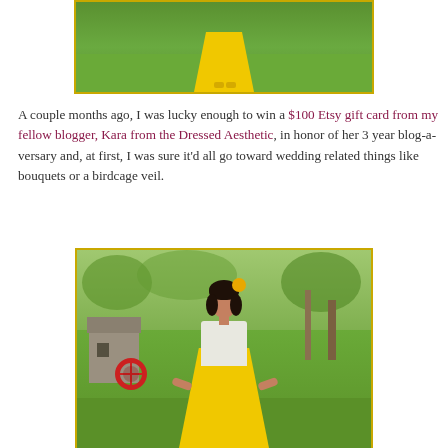[Figure (photo): Partial view of a person wearing a yellow gingham/plaid dress standing on green grass, photo cropped at top showing only dress and feet in yellow shoes]
A couple months ago, I was lucky enough to win a $100 Etsy gift card from my fellow blogger, Kara from the Dressed Aesthetic, in honor of her 3 year blog-a-versary and, at first, I was sure it'd all go toward wedding related things like bouquets or a birdcage veil.
[Figure (photo): Woman with dark curly hair wearing a yellow gingham dress and white cardigan, with a yellow flower hair accessory, standing in front of a historic grist mill with a red water wheel, surrounded by green trees]